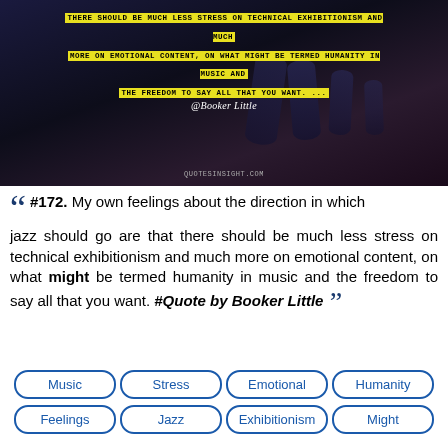[Figure (illustration): Dark background image with cylinders/tubes and overlaid yellow highlighted text quote about jazz, attributed to @Booker Little. Watermark: quotesinsight.com]
“ #172. My own feelings about the direction in which jazz should go are that there should be much less stress on technical exhibitionism and much more on emotional content, on what might be termed humanity in music and the freedom to say all that you want. #Quote by Booker Little ”
Music
Stress
Emotional
Humanity
Feelings
Jazz
Exhibitionism
Might
Should
Want
Less Stress
My Own